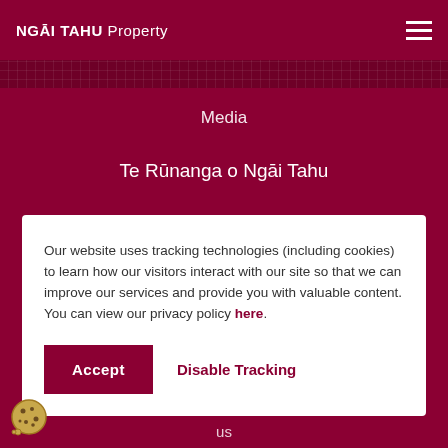NGĀI TAHU Property
Media
Te Rūnanga o Ngāi Tahu
Sitemap
Our website uses tracking technologies (including cookies) to learn how our visitors interact with our site so that we can improve our services and provide you with valuable content. You can view our privacy policy here.
Accept
Disable Tracking
us